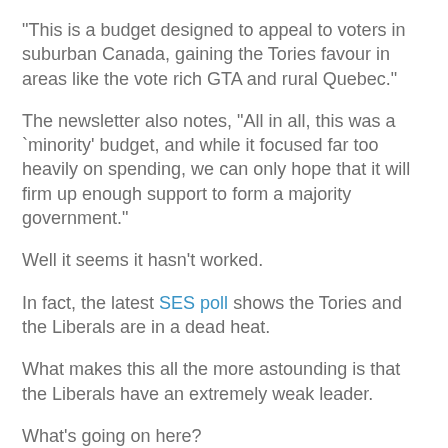"This is a budget designed to appeal to voters in suburban Canada, gaining the Tories favour in areas like the vote rich GTA and rural Quebec."
The newsletter also notes, "All in all, this was a `minority' budget, and while it focused far too heavily on spending, we can only hope that it will firm up enough support to form a majority government."
Well it seems it hasn't worked.
In fact, the latest SES poll shows the Tories and the Liberals are in a dead heat.
What makes this all the more astounding is that the Liberals have an extremely weak leader.
What's going on here?
Well maybe the voters are picking up on something that has eluded both the NCC and the PMO.